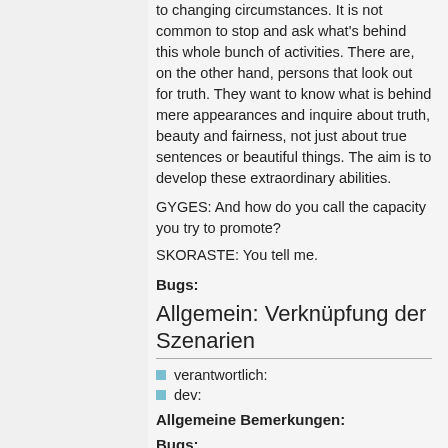to changing circumstances. It is not common to stop and ask what's behind this whole bunch of activities. There are, on the other hand, persons that look out for truth. They want to know what is behind mere appearances and inquire about truth, beauty and fairness, not just about true sentences or beautiful things. The aim is to develop these extraordinary abilities.
GYGES: And how do you call the capacity you try to promote?
SKORASTE: You tell me.
Bugs:
Allgemein: Verknüpfung der Szenarien
verantwortlich:
dev:
Allgemeine Bemerkungen:
Bugs: